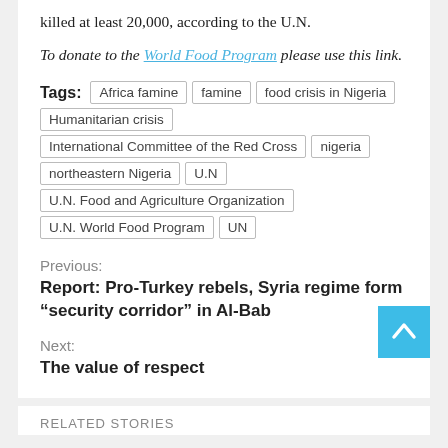killed at least 20,000, according to the U.N.
To donate to the World Food Program please use this link.
Tags: Africa famine | famine | food crisis in Nigeria | Humanitarian crisis | International Committee of the Red Cross | nigeria | northeastern Nigeria | U.N | U.N. Food and Agriculture Organization | U.N. World Food Program | UN
Previous: Report: Pro-Turkey rebels, Syria regime form “security corridor” in Al-Bab
Next: The value of respect
RELATED STORIES